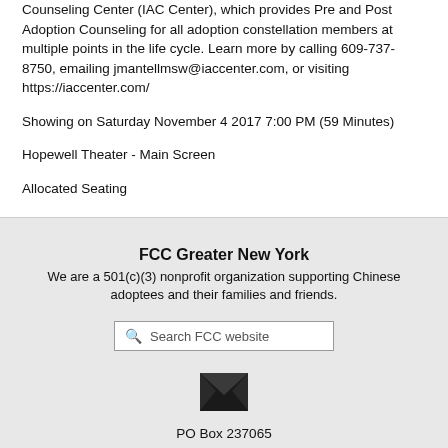Counseling Center (IAC Center), which provides Pre and Post Adoption Counseling for all adoption constellation members at multiple points in the life cycle. Learn more by calling 609-737-8750, emailing jmantellmsw@iaccenter.com, or visiting https://iaccenter.com/
Showing on Saturday November 4 2017 7:00 PM (59 Minutes)
Hopewell Theater - Main Screen
Allocated Seating
FCC Greater New York
We are a 501(c)(3) nonprofit organization supporting Chinese adoptees and their families and friends.
Search FCC website
PO Box 237065
Ansonia Station
New York, NY 10023